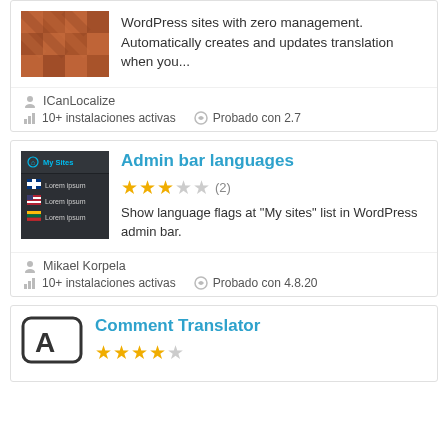WordPress sites with zero management. Automatically creates and updates translation when you...
ICanLocalize
10+ instalaciones activas
Probado con 2.7
Admin bar languages
[Figure (screenshot): Admin bar screenshot showing My Sites dropdown with Finnish, US, and Lithuanian flags next to Lorem ipsum entries]
Show language flags at "My sites" list in WordPress admin bar.
Mikael Korpela
10+ instalaciones activas
Probado con 4.8.20
Comment Translator